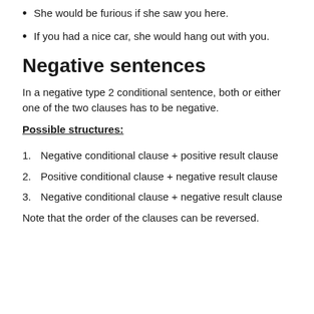She would be furious if she saw you here.
If you had a nice car, she would hang out with you.
Negative sentences
In a negative type 2 conditional sentence, both or either one of the two clauses has to be negative.
Possible structures:
1. Negative conditional clause + positive result clause
2. Positive conditional clause + negative result clause
3. Negative conditional clause + negative result clause
Note that the order of the clauses can be reversed.